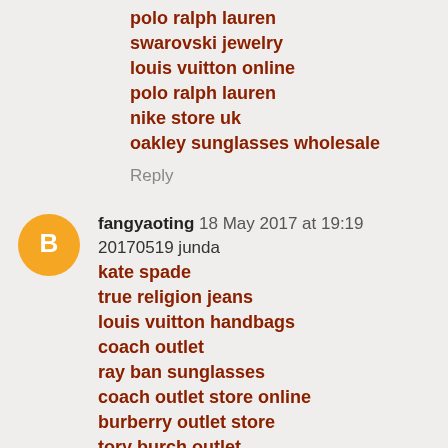polo ralph lauren
swarovski jewelry
louis vuitton online
polo ralph lauren
nike store uk
oakley sunglasses wholesale
Reply
fangyaoting 18 May 2017 at 19:19
20170519 junda
kate spade
true religion jeans
louis vuitton handbags
coach outlet
ray ban sunglasses
coach outlet store online
burberry outlet store
tory burch outlet
cartier watches
longchamp handbags